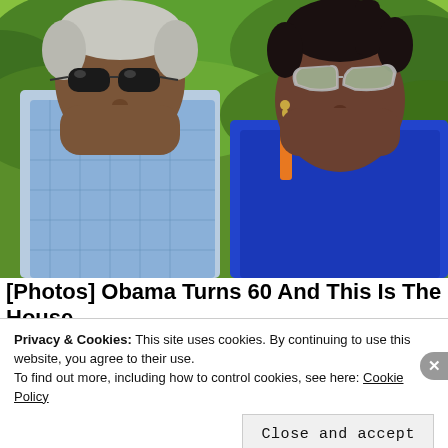[Figure (photo): A man and woman posing outdoors with a lush green landscape background. The man on the left wears dark sunglasses and a light blue checked shirt. The woman on the right wears stylish cat-eye sunglasses and a blue top. Green trees and colorful structures are visible in the background.]
[Photos] Obama Turns 60 And This Is The House He Lives In
Privacy & Cookies: This site uses cookies. By continuing to use this website, you agree to their use.
To find out more, including how to control cookies, see here: Cookie Policy